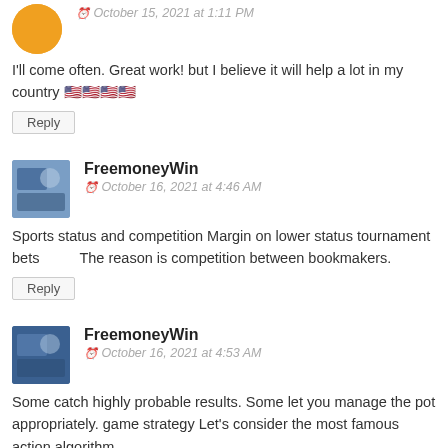October 15, 2021 at 1:11 PM
I'll come often. Great work! but I believe it will help a lot in my country 🇺🇸🇺🇸🇺🇸🇺🇸
Reply
FreemoneyWin
October 16, 2021 at 4:46 AM
Sports status and competition Margin on lower status tournament bets          The reason is competition between bookmakers.
Reply
FreemoneyWin
October 16, 2021 at 4:53 AM
Some catch highly probable results. Some let you manage the pot appropriately. game strategy Let's consider the most famous action algorithm.               that can be profitable in games with bookmakers
Reply